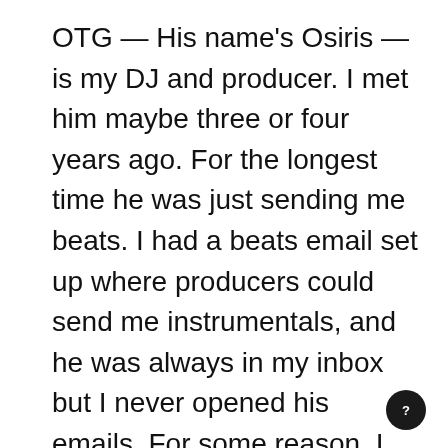OTG — His name's Osiris — is my DJ and producer. I met him maybe three or four years ago. For the longest time he was just sending me beats. I had a beats email set up where producers could send me instrumentals, and he was always in my inbox but I never opened his emails. For some reason, I don't know. Sometimes it's just a lot. But he was so consistent with it that he forced me to listen without forcing me. He was just so visible in my inbox. One day I opened up his email and he had sent me a beat that I was blown away by. I went